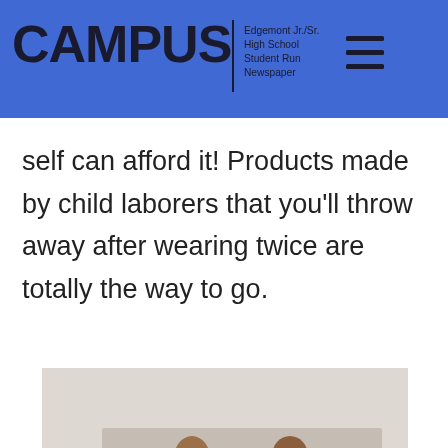CAMPUS | Edgemont Jr./Sr. High School Student Run Newspaper
self can afford it! Products made by child laborers that you'll throw away after wearing twice are totally the way to go.
[Figure (photo): Group of garment workers in a factory holding signs that read 'I made your clothes'. A woman in red in the center holds a large sign, surrounded by other workers and sewing machines.]